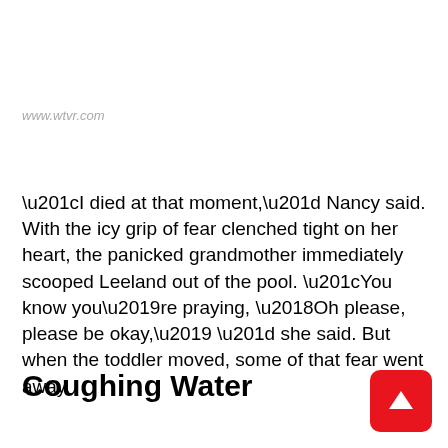www.wtvr.com
“I died at that moment,” Nancy said. With the icy grip of fear clenched tight on her heart, the panicked grandmother immediately scooped Leeland out of the pool. “You know you’re praying, ‘Oh please, please be okay,’ ” she said. But when the toddler moved, some of that fear went away.
Coughing Water